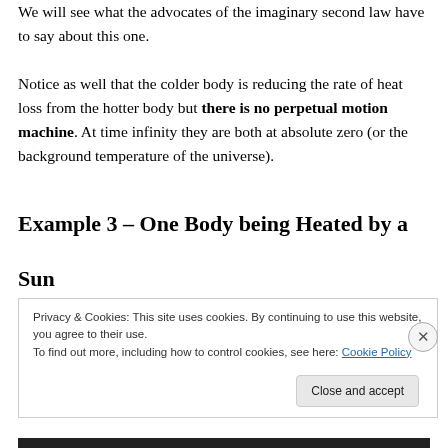We will see what the advocates of the imaginary second law have to say about this one.
Notice as well that the colder body is reducing the rate of heat loss from the hotter body but there is no perpetual motion machine. At time infinity they are both at absolute zero (or the background temperature of the universe).
Example 3 – One Body being Heated by a Sun
Privacy & Cookies: This site uses cookies. By continuing to use this website, you agree to their use.
To find out more, including how to control cookies, see here: Cookie Policy
[Close and accept]